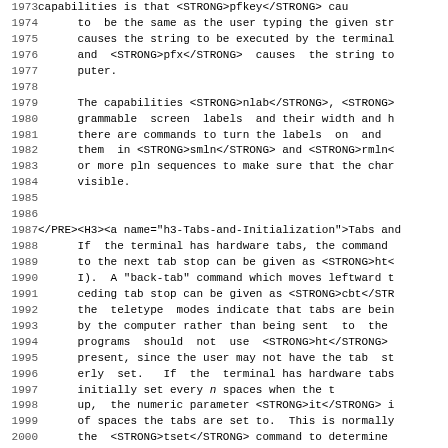Source code / documentation listing with line numbers 1973-2004+, showing terminal capabilities documentation with HTML-like markup tags such as <STRONG>pfkey</STRONG>, <STRONG>pfx</STRONG>, <STRONG>nlab</STRONG>, <STRONG>smln</STRONG>, <STRONG>rmln</STRONG>, <STRONG>ht</STRONG>, <STRONG>cbt</STRONG>, <STRONG>it</STRONG>, <STRONG>tset</STRONG> and </PRE><H3><a name='h3-Tabs-and-Initialization'>Tabs and Initialization section.